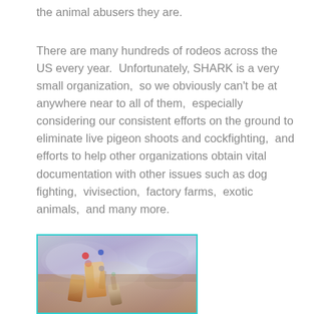the animal abusers they are.
There are many hundreds of rodeos across the US every year.  Unfortunately, SHARK is a very small organization,  so we obviously can't be at anywhere near to all of them,  especially considering our consistent efforts on the ground to eliminate live pigeon shoots and cockfighting,  and efforts to help other organizations obtain vital documentation with other issues such as dog fighting,  vivisection,  factory farms,  exotic animals,  and many more.
[Figure (photo): A rodeo scene with riders and animals amid dust clouds, shown with a teal/cyan border.]